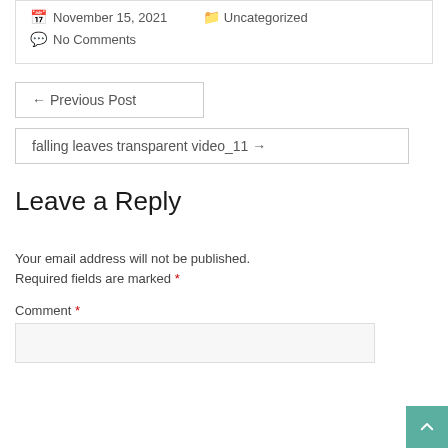November 15, 2021   Uncategorized
No Comments
← Previous Post
falling leaves transparent video_11 →
Leave a Reply
Your email address will not be published. Required fields are marked *
Comment *